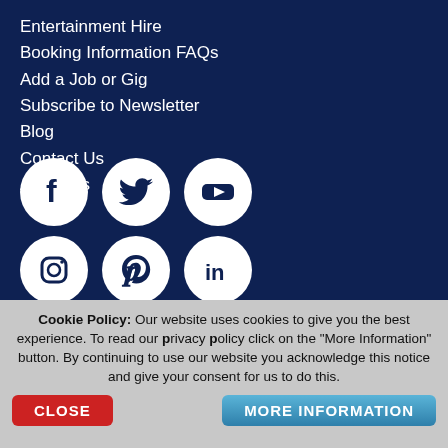Entertainment Hire
Booking Information FAQs
Add a Job or Gig
Subscribe to Newsletter
Blog
Contact Us
About Us
[Figure (infographic): Six social media icons in white circles on dark navy background: Facebook, Twitter, YouTube (top row), Instagram, Pinterest, LinkedIn (bottom row)]
Cookie Policy: Our website uses cookies to give you the best experience. To read our privacy policy click on the "More Information" button. By continuing to use our website you acknowledge this notice and give your consent for us to do this.
CLOSE
MORE INFORMATION